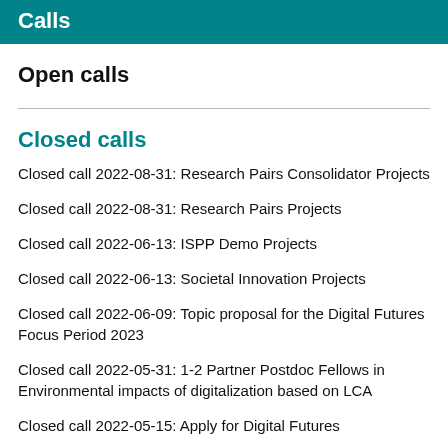Calls
Open calls
Closed calls
Closed call 2022-08-31: Research Pairs Consolidator Projects
Closed call 2022-08-31: Research Pairs Projects
Closed call 2022-06-13: ISPP Demo Projects
Closed call 2022-06-13: Societal Innovation Projects
Closed call 2022-06-09: Topic proposal for the Digital Futures Focus Period 2023
Closed call 2022-05-31: 1-2 Partner Postdoc Fellows in Environmental impacts of digitalization based on LCA
Closed call 2022-05-15: Apply for Digital Futures Postdoc Program and also more...